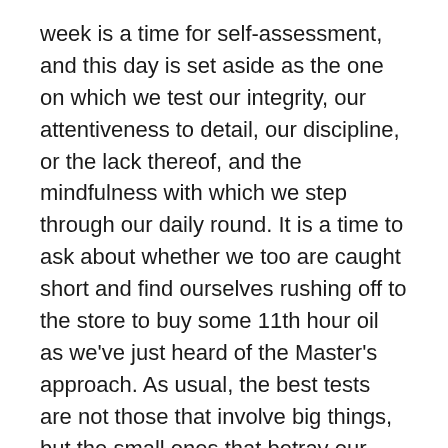week is a time for self-assessment, and this day is set aside as the one on which we test our integrity, our attentiveness to detail, our discipline, or the lack thereof, and the mindfulness with which we step through our daily round. It is a time to ask about whether we too are caught short and find ourselves rushing off to the store to buy some 11th hour oil as we've just heard of the Master's approach. As usual, the best tests are not those that involve big things, but the small ones that betray our careless distractibility.
Yesterday, our gardener was scheduled to stop by the house to pick up the signed contract for his continued work with us over the upcoming growing season. I marked down that he would be stopping by and had the contact in hand when we spoke by phone of his intent to do so. Well, he came by the house and my wife answered the door